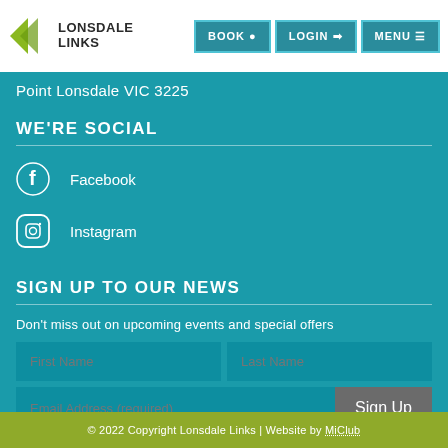[Figure (logo): Lonsdale Links logo with green arrow icon and bold text]
Point Lonsdale VIC 3225
WE'RE SOCIAL
Facebook
Instagram
SIGN UP TO OUR NEWS
Don't miss out on upcoming events and special offers
First Name | Last Name | Email Address (required) | Sign Up
© 2022 Copyright Lonsdale Links | Website by MiClub